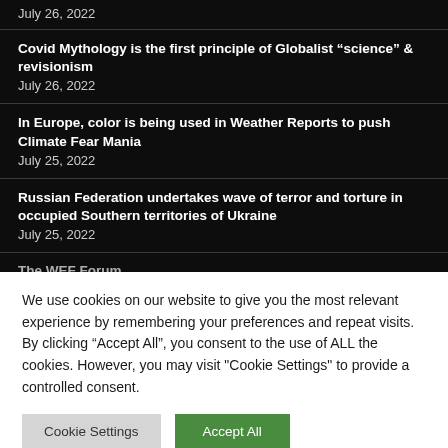July 26, 2022
Covid Mythology is the first principle of Globalist “science” & revisionism
July 26, 2022
In Europe, color is being used in Weather Reports to push Climate Fear Mania
July 25, 2022
Russian Federation undertakes wave of terror and torture in occupied Southern territories of Ukraine
July 25, 2022
The WEF Forum...
We use cookies on our website to give you the most relevant experience by remembering your preferences and repeat visits. By clicking “Accept All”, you consent to the use of ALL the cookies. However, you may visit "Cookie Settings" to provide a controlled consent.